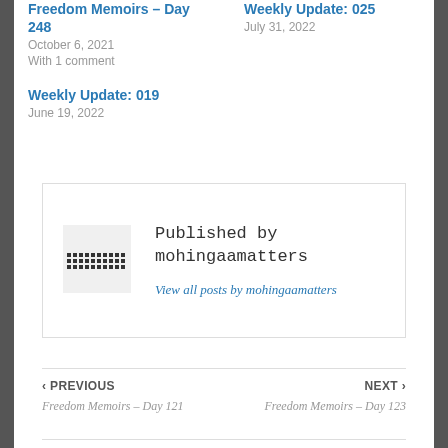Freedom Memoirs – Day 248
October 6, 2021
With 1 comment
Weekly Update: 025
July 31, 2022
Weekly Update: 019
June 19, 2022
[Figure (other): Author avatar pixelated image placeholder]
Published by mohingaamatters
View all posts by mohingaamatters
‹ PREVIOUS
Freedom Memoirs – Day 121
NEXT ›
Freedom Memoirs – Day 123